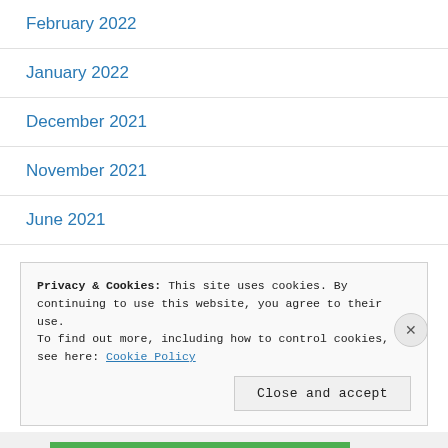February 2022
January 2022
December 2021
November 2021
June 2021
April 2021
Privacy & Cookies: This site uses cookies. By continuing to use this website, you agree to their use.
To find out more, including how to control cookies, see here: Cookie Policy
Close and accept